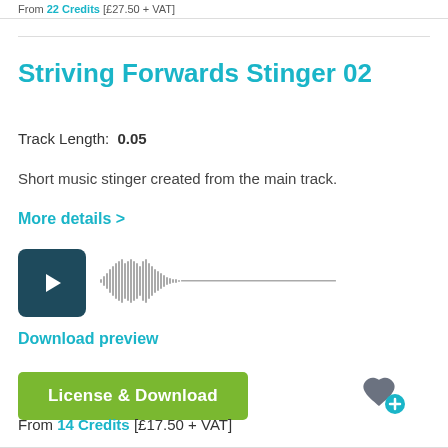From 22 Credits [£27.50 + VAT]
Striving Forwards Stinger 02
Track Length:  0.05
Short music stinger created from the main track.
More details >
[Figure (other): Audio player with play button (dark teal square with triangle) and waveform visualization showing a short audio clip]
Download preview
License & Download
From 14 Credits [£17.50 + VAT]